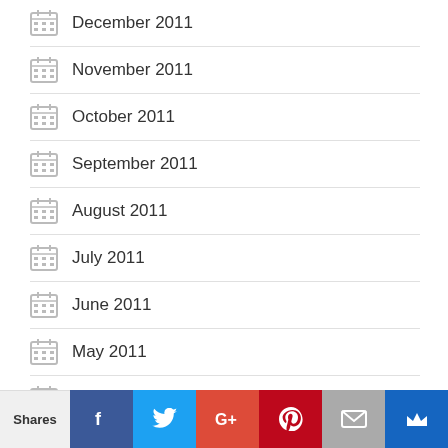December 2011
November 2011
October 2011
September 2011
August 2011
July 2011
June 2011
May 2011
April 2011
March 2011
February 2011
Shares | Facebook | Twitter | Google+ | Pinterest | Email | Crown